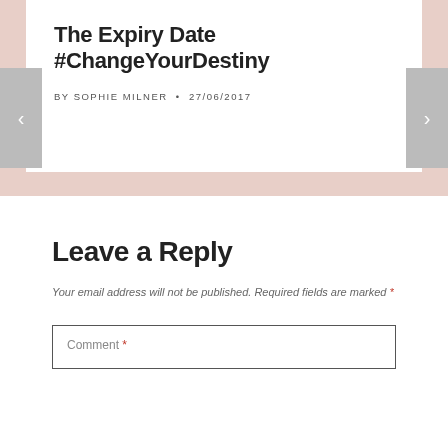The Expiry Date #ChangeYourDestiny
BY SOPHIE MILNER • 27/06/2017
Leave a Reply
Your email address will not be published. Required fields are marked *
Comment *